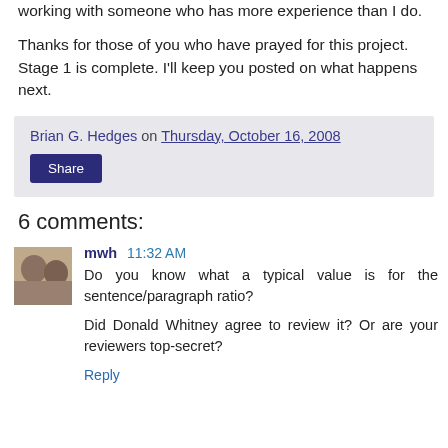working with someone who has more experience than I do.
Thanks for those of you who have prayed for this project. Stage 1 is complete. I'll keep you posted on what happens next.
Brian G. Hedges on Thursday, October 16, 2008
Share
6 comments:
mwh 11:32 AM
Do you know what a typical value is for the sentence/paragraph ratio?
Did Donald Whitney agree to review it? Or are your reviewers top-secret?
Reply